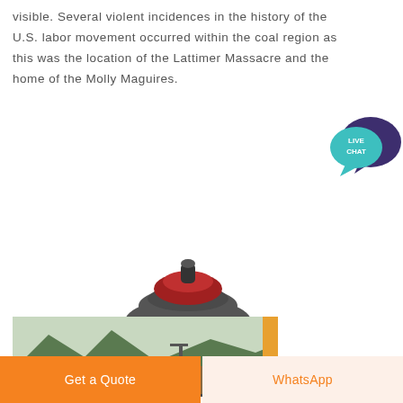visible. Several violent incidences in the history of the U.S. labor movement occurred within the coal region as this was the location of the Lattimer Massacre and the home of the Molly Maguires.
[Figure (photo): Industrial cone crusher / grinding mill machine in dark grey with red accents, shown on white background]
[Figure (photo): Outdoor mining or construction site with orange pipe sections, cranes, and hilly green mountain landscape in background]
Get a Quote
WhatsApp